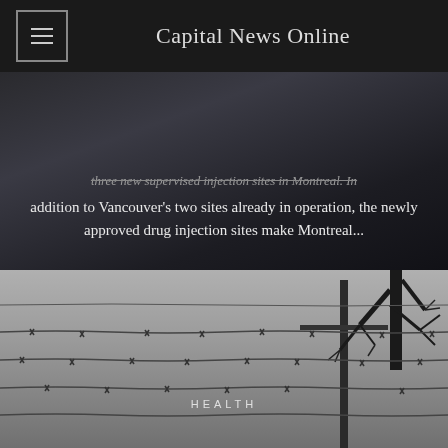Capital News Online
three new supervised injection sites in Montreal. In addition to Vancouver's two sites already in operation, the newly approved drug injection sites make Montreal...
[Figure (photo): Barbed wire fence against a grey sky with bare tree branches and a utility pole on the right side. A 'HEALTH' category label is overlaid in the center.]
HEALTH